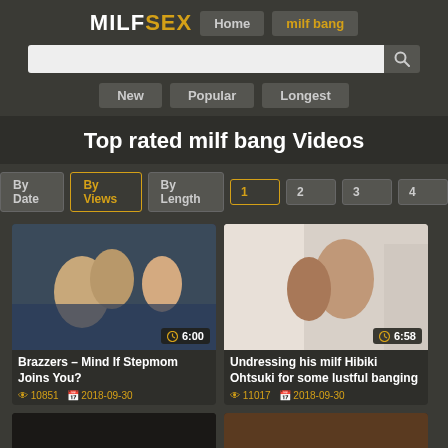MILFSEX | Home | milf bang
Search bar
New | Popular | Longest
Top rated milf bang Videos
By Date | By Views | By Length | 1 | 2 | 3 | 4
[Figure (photo): Video thumbnail: Brazzers – Mind If Stepmom Joins You? Duration 6:00]
Brazzers – Mind If Stepmom Joins You?
👁 10851, 📅 2018-09-30
[Figure (photo): Video thumbnail: Undressing his milf Hibiki Ohtsuki for some lustful banging. Duration 6:58]
Undressing his milf Hibiki Ohtsuki for some lustful banging
👁 11017, 📅 2018-09-30